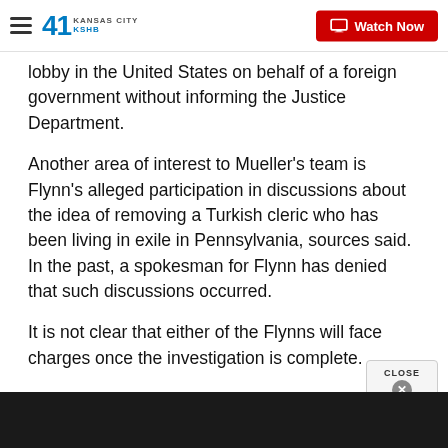41 KSHB KANSAS CITY | Watch Now
lobby in the United States on behalf of a foreign government without informing the Justice Department.
Another area of interest to Mueller's team is Flynn's alleged participation in discussions about the idea of removing a Turkish cleric who has been living in exile in Pennsylvania, sources said. In the past, a spokesman for Flynn has denied that such discussions occurred.
It is not clear that either of the Flynns will face charges once the investigation is complete.
Flynn's attorney did not respond to multiple reques